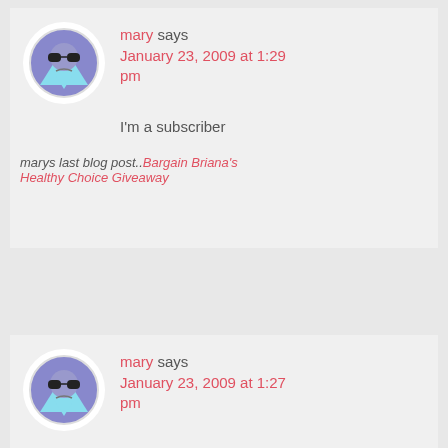[Figure (illustration): Cartoon avatar: round circle with a purple/blue face wearing sunglasses, triangular body shape]
mary says January 23, 2009 at 1:29 pm
I'm a subscriber
marys last blog post..Bargain Briana's Healthy Choice Giveaway
[Figure (illustration): Cartoon avatar: round circle with a purple/blue face wearing sunglasses, triangular body shape]
mary says January 23, 2009 at 1:27 pm